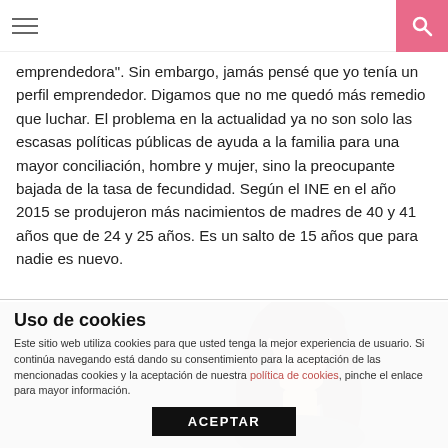≡  [search icon]
emprendedora". Sin embargo, jamás pensé que yo tenía un perfil emprendedor. Digamos que no me quedó más remedio que luchar. El problema en la actualidad ya no son solo las escasas políticas públicas de ayuda a la familia para una mayor conciliación, hombre y mujer, sino la preocupante bajada de la tasa de fecundidad. Según el INE en el año 2015 se produjeron más nacimientos de madres de 40 y 41 años que de 24 y 25 años. Es un salto de 15 años que para nadie es nuevo.
[Figure (photo): Woman with long dark hair, looking sideways, in front of a dark background with a lighter vertical band]
Uso de cookies
Este sitio web utiliza cookies para que usted tenga la mejor experiencia de usuario. Si continúa navegando está dando su consentimiento para la aceptación de las mencionadas cookies y la aceptación de nuestra política de cookies, pinche el enlace para mayor información.
ACEPTAR